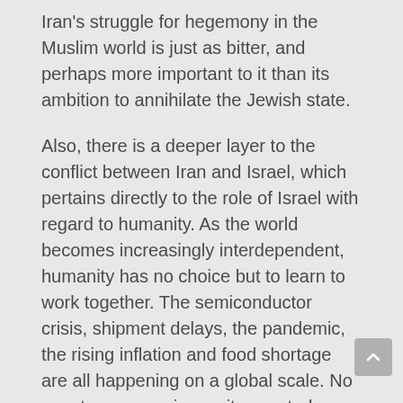Iran's struggle for hegemony in the Muslim world is just as bitter, and perhaps more important to it than its ambition to annihilate the Jewish state.
Also, there is a deeper layer to the conflict between Iran and Israel, which pertains directly to the role of Israel with regard to humanity. As the world becomes increasingly interdependent, humanity has no choice but to learn to work together. The semiconductor crisis, shipment delays, the pandemic, the rising inflation and food shortage are all happening on a global scale. No country can survive on its own today.
Israel's past contains a formula of unity that has never been tried by anyone except Israel, and that, too, only in antiquity. According to this formula, one does not try to oppress the other or change the other person's, or nation's way of life. Rather, belligerent parties leave their adversaries as they are and try to bond with them above the differences. For this to happen, the value of unity itself must be superior to all other values.